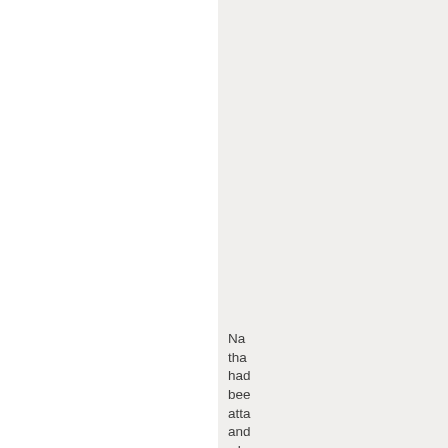Na tha had bee atta and wh ver